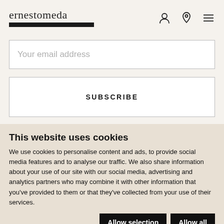ernestomeda
Your email address
SUBSCRIBE
This website uses cookies
We use cookies to personalise content and ads, to provide social media features and to analyse our traffic. We also share information about your use of our site with our social media, advertising and analytics partners who may combine it with other information that you've provided to them or that they've collected from your use of their services.
Allow selection | Allow all
Necessary | Preferences | Statistics | Marketing | Show details